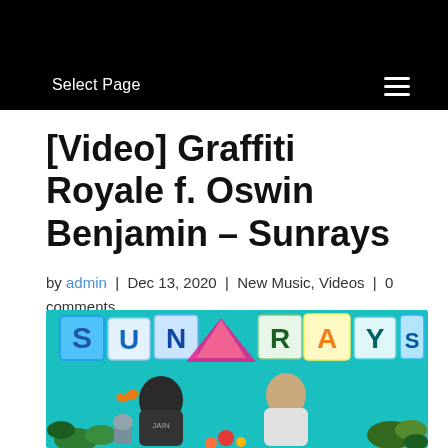Select Page
[Video] Graffiti Royale f. Oswin Benjamin – Sunrays
by admin | Dec 13, 2020 | New Music, Videos | 0 comments
[Figure (photo): Album art for Sunrays by Graffiti Royale featuring Oswin Benjamin. Teal background with two men standing, large colorful letter tiles spelling SUNRAYS at top, tropical plants and flowers at bottom.]